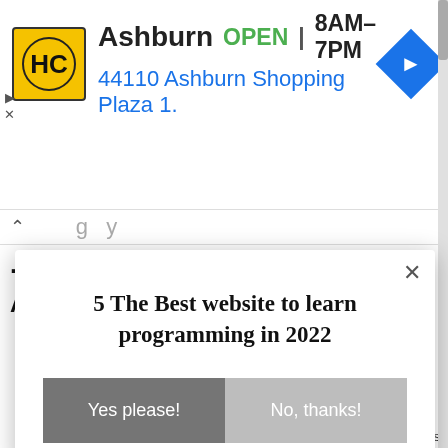[Figure (screenshot): Advertisement banner for HC (Harte-Hanks) showing Ashburn location, OPEN status, hours 8AM-7PM, address 44110 Ashburn Shopping Plaza 1., with yellow logo and blue navigation icon]
...mobile fallback
Author:- Peder Andreas Nielsen
5 The Best website to learn programming in 2022
Yes please!
No, thanks!